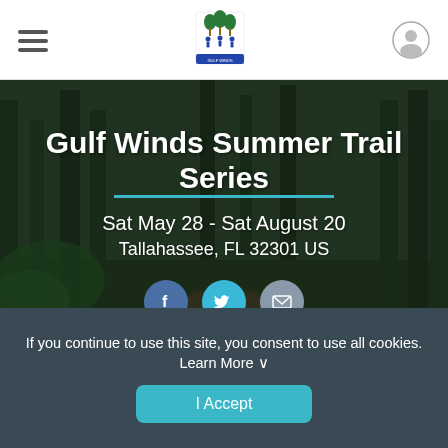[Figure (logo): Gulf Winds District and Sector logo with palm trees and people figures]
Gulf Winds Summer Trail Series
Sat May 28 - Sat August 20
Tallahassee, FL 32301 US
[Figure (infographic): Social share buttons: Facebook, Twitter, Email]
If you continue to use this site, you consent to use all cookies. Learn More
I Accept